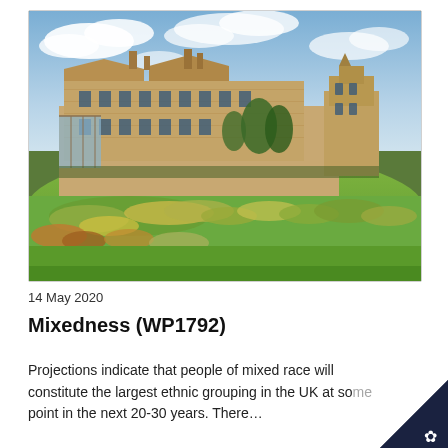[Figure (photo): Aerial view of a large English country manor or stately home with Victorian Gothic architecture, featuring stone facades, multiple chimneys, and a glass conservatory on the left. A church tower is visible on the right. Green lawn and landscaped garden beds with autumn shrubs in the foreground. Dramatic cloudy blue sky above.]
14 May 2020
Mixedness (WP1792)
Projections indicate that people of mixed race will constitute the largest ethnic grouping in the UK at some point in the next 20-30 years. There…